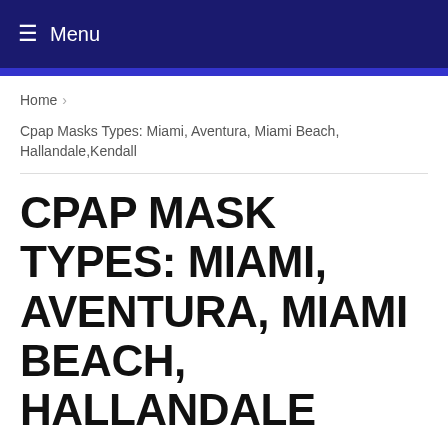≡ Menu
Home ›
Cpap Masks Types: Miami, Aventura, Miami Beach, Hallandale,Kendall
CPAP MASK TYPES: MIAMI, AVENTURA, MIAMI BEACH, HALLANDALE
Cpapsalesmiami.com is always committed to offering the best information to all our Cpap Machine patients and helping them be more informed about the right Cpap Mask to use and